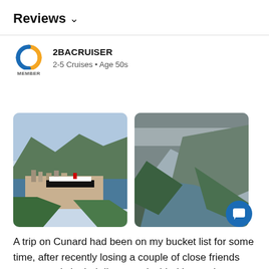Reviews ∨
2BACRUISER
2-5 Cruises • Age 50s
[Figure (photo): Aerial view of a coastal Norwegian town with a large cruise ship docked at port, surrounded by fjord and mountains]
[Figure (photo): Aerial view of a Norwegian fjord with green forested mountains, a winding river/fjord, and misty mountain peaks]
A trip on Cunard had been on my bucket list for some time, after recently losing a couple of close friends way to early in their lives we decided it was time to start to realise some